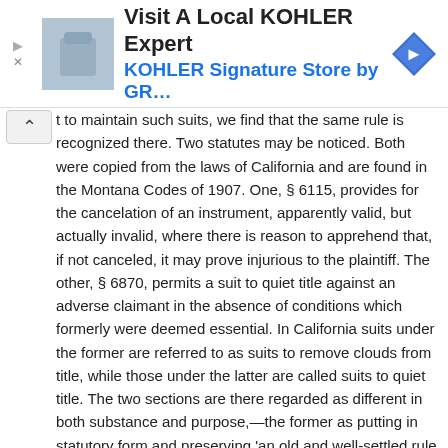[Figure (screenshot): Advertisement banner for KOHLER Signature Store with product image, navigation icon, and ad controls]
t to maintain such suits, we find that the same rule is recognized there. Two statutes may be noticed. Both were copied from the laws of California and are found in the Montana Codes of 1907. One, § 6115, provides for the cancelation of an instrument, apparently valid, but actually invalid, where there is reason to apprehend that, if not canceled, it may prove injurious to the plaintiff. The other, § 6870, permits a suit to quiet title against an adverse claimant in the absence of conditions which formerly were deemed essential. In California suits under the former are referred to as suits to remove clouds from title, while those under the latter are called suits to quiet title. The two sections are there regarded as different in both substance and purpose,—the former as putting in statutory form and preserving 'an old and well-settled rule of equity,' and the latter as greatly liberalizing and enlarging another old rule. Of the former, it is said that it 'is aimed at a particular instrument, or piece of evidence, which is dangerous to the plaintiff's rights,' and that 'there can be no question but that the facts which show the apparent validity of the instrument which is said to constitute the cloud, and also the facts